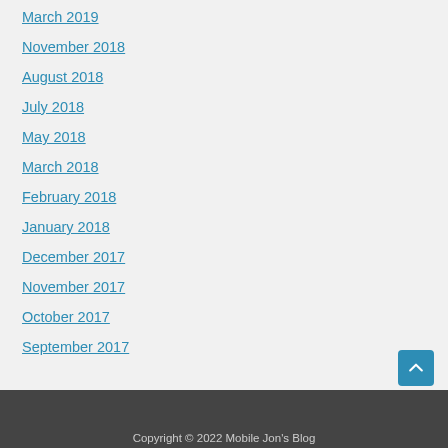March 2019
November 2018
August 2018
July 2018
May 2018
March 2018
February 2018
January 2018
December 2017
November 2017
October 2017
September 2017
Copyright © 2022 Mobile Jon's Blog